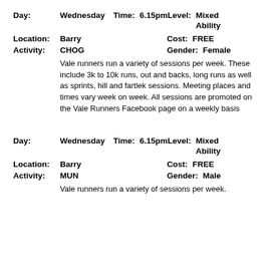Day: Wednesday  Time: 6.15pm  Level: Mixed Ability
Location: Barry  Cost: FREE
Activity: CHOG  Gender: Female
Vale runners run a variety of sessions per week. These include 3k to 10k runs, out and backs, long runs as well as sprints, hill and fartlek sessions. Meeting places and times vary week on week. All sessions are promoted on the Vale Runners Facebook page on a weekly basis
Day: Wednesday  Time: 6.15pm  Level: Mixed Ability
Location: Barry  Cost: FREE
Activity: MUN  Gender: Male
Vale runners run a variety of sessions per week.